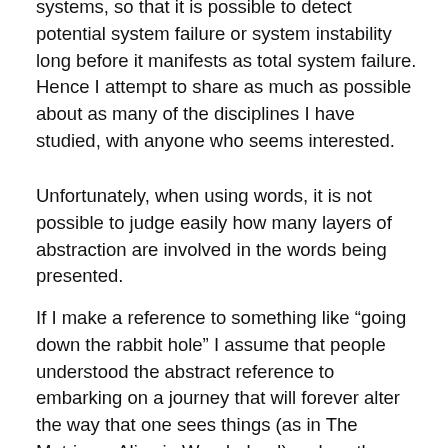systems, so that it is possible to detect potential system failure or system instability long before it manifests as total system failure.
Hence I attempt to share as much as possible about as many of the disciplines I have studied, with anyone who seems interested.
Unfortunately, when using words, it is not possible to judge easily how many layers of abstraction are involved in the words being presented.
If I make a reference to something like “going down the rabbit hole” I assume that people understood the abstract reference to embarking on a journey that will forever alter the way that one sees things (as in The Matrix, or Alice in Wonderland), unless they question me.
You have questioned, so I have gone back a level of